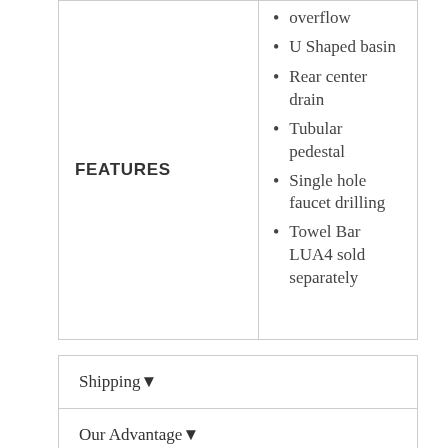FEATURES
overflow
U Shaped basin
Rear center drain
Tubular pedestal
Single hole faucet drilling
Towel Bar LUA4 sold separately
Shipping▼
Our Advantage▼